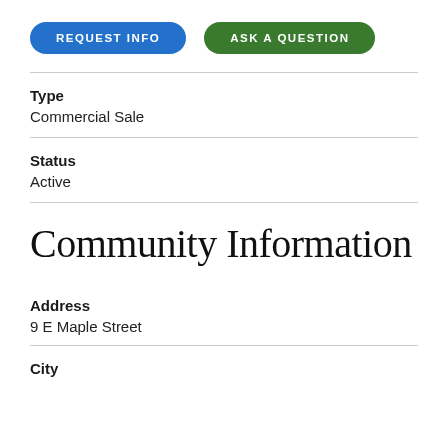[Figure (other): Two pill-shaped buttons: 'REQUEST INFO' (blue) and 'ASK A QUESTION' (green)]
Type
Commercial Sale
Status
Active
Community Information
Address
9 E Maple Street
City